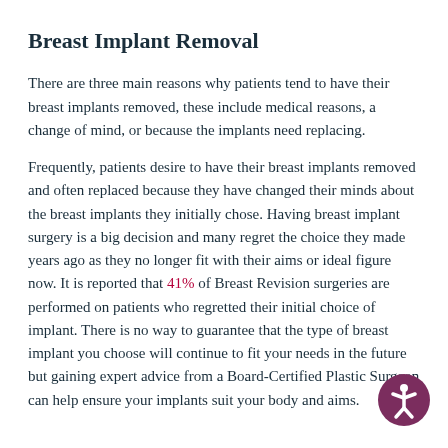Breast Implant Removal
There are three main reasons why patients tend to have their breast implants removed, these include medical reasons, a change of mind, or because the implants need replacing.
Frequently, patients desire to have their breast implants removed and often replaced because they have changed their minds about the breast implants they initially chose. Having breast implant surgery is a big decision and many regret the choice they made years ago as they no longer fit with their aims or ideal figure now. It is reported that 41% of Breast Revision surgeries are performed on patients who regretted their initial choice of implant. There is no way to guarantee that the type of breast implant you choose will continue to fit your needs in the future but gaining expert advice from a Board-Certified Plastic Surgeon can help ensure your implants suit your body and aims.